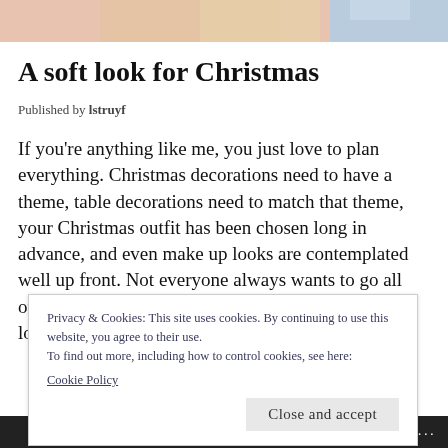[Figure (photo): Top portion of a person's face with blonde hair, cropped at top of page]
A soft look for Christmas
Published by lstruyf
If you're anything like me, you just love to plan everything. Christmas decorations need to have a theme, table decorations need to match that theme, your Christmas outfit has been chosen long in advance, and even make up looks are contemplated well up front. Not everyone always wants to go all out with a smokey eye so glam the Christmas Tree looks rather
Privacy & Cookies: This site uses cookies. By continuing to use this website, you agree to their use.
To find out more, including how to control cookies, see here:
Cookie Policy
Close and accept
FOLLOW ...